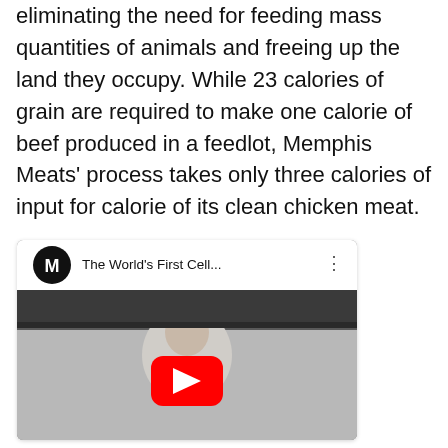eliminating the need for feeding mass quantities of animals and freeing up the land they occupy. While 23 calories of grain are required to make one calorie of beef produced in a feedlot, Memphis Meats' process takes only three calories of input for calorie of its clean chicken meat.
[Figure (screenshot): YouTube video thumbnail showing 'The World's First Cell...' with Memphis Meats (M) logo circle, a woman in a kitchen in grayscale, and a red YouTube play button overlay.]